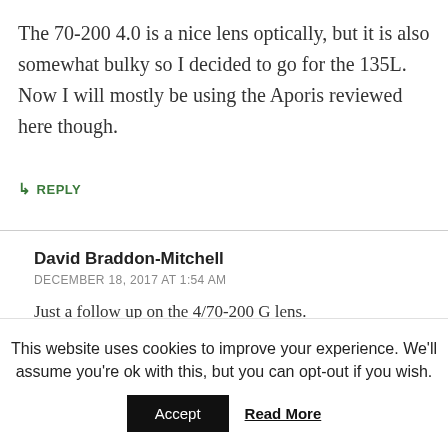The 70-200 4.0 is a nice lens optically, but it is also somewhat bulky so I decided to go for the 135L. Now I will mostly be using the Aporis reviewed here though.
↳ REPLY
David Braddon-Mitchell
DECEMBER 18, 2017 AT 1:54 AM
Just a follow up on the 4/70-200 G lens. Obviously it's a zoom, so it will vary a bit from copy to copy. But mine (and this is reflected in a number of
This website uses cookies to improve your experience. We'll assume you're ok with this, but you can opt-out if you wish.
Accept   Read More